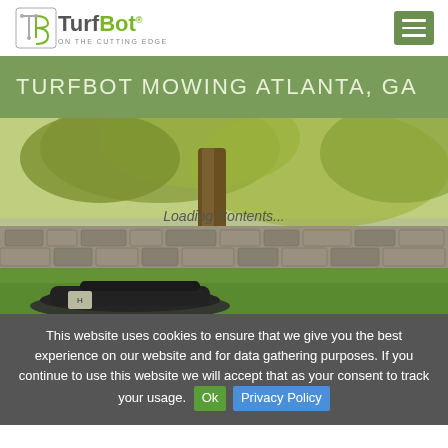TurfBot - ON THE CUTTING EDGE
TURFBOT MOWING ATLANTA, GA
[Figure (photo): Robotic lawn mower (Husqvarna Automower) on a green lawn in front of a large stone wall and a large tree at golden hour. Overlaid text reads 'Loading Contents...']
This website uses cookies to ensure that we give you the best experience on our website and for data gathering purposes. If you continue to use this website we will accept that as your consent to track your usage. Ok Privacy Policy